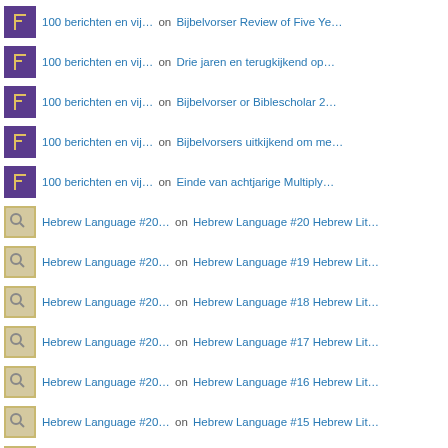100 berichten en vij… on Bijbelvorser Review of Five Ye…
100 berichten en vij… on Drie jaren en terugkijkend op…
100 berichten en vij… on Bijbelvorser or Biblescholar 2…
100 berichten en vij… on Bijbelvorsers uitkijkend om me…
100 berichten en vij… on Einde van achtjarige Multiply…
Hebrew Language #20… on Hebrew Language #20 Hebrew Lit…
Hebrew Language #20… on Hebrew Language #19 Hebrew Lit…
Hebrew Language #20… on Hebrew Language #18 Hebrew Lit…
Hebrew Language #20… on Hebrew Language #17 Hebrew Lit…
Hebrew Language #20… on Hebrew Language #16 Hebrew Lit…
Hebrew Language #20… on Hebrew Language #15 Hebrew Lit…
Hebrew Language #20… on Hebrew Language #14 Hebrew Lit…
[Figure (photo): A close-up photo of what appears to be green and teal colored books or publications, with partial text visible including letters 'BL' and 'IGN' on a dark background.]